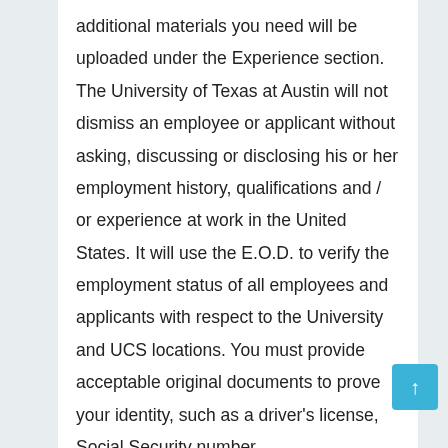additional materials you need will be uploaded under the Experience section. The University of Texas at Austin will not dismiss an employee or applicant without asking, discussing or disclosing his or her employment history, qualifications and / or experience at work in the United States. It will use the E.O.D. to verify the employment status of all employees and applicants with respect to the University and UCS locations. You must provide acceptable original documents to prove your identity, such as a driver's license, Social Security number,